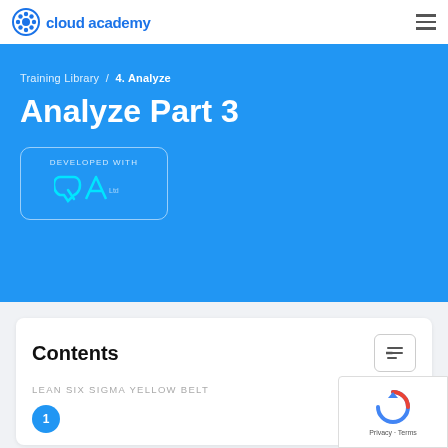cloud academy
Training Library / 4. Analyze
Analyze Part 3
[Figure (logo): QA logo with text 'DEVELOPED WITH' above it, shown in a rounded rectangle box]
Contents
LEAN SIX SIGMA YELLOW BELT
Analyze Part 1